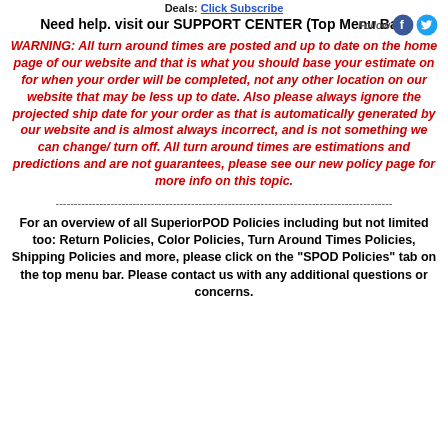Deals: Click Subscribe
Need help. visit our SUPPORT CENTER (Top Menu Bar)
WARNING: All turn around times are posted and up to date on the home page of our website and that is what you should base your estimate on for when your order will be completed, not any other location on our website that may be less up to date. Also please always ignore the projected ship date for your order as that is automatically generated by our website and is almost always incorrect, and is not something we can change/ turn off. All turn around times are estimations and predictions and are not guarantees, please see our new policy page for more info on this topic.
--------------------------------------------------------------------------------------------
For an overview of all SuperiorPOD Policies including but not limited too: Return Policies, Color Policies, Turn Around Times Policies, Shipping Policies and more, please click on the "SPOD Policies" tab on the top menu bar. Please contact us with any additional questions or concerns.